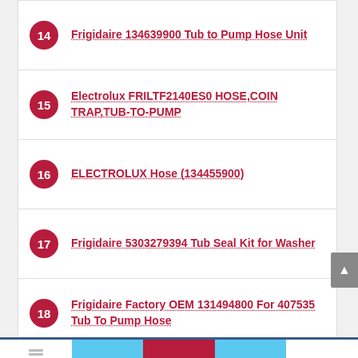14 Frigidaire 134639900 Tub to Pump Hose Unit
15 Electrolux FRILTF2140ES0 HOSE,COIN TRAP,TUB-TO-PUMP
16 ELECTROLUX Hose (134455900)
17 Frigidaire 5303279394 Tub Seal Kit for Washer
18 Frigidaire Factory OEM 131494800 For 407535 Tub To Pump Hose